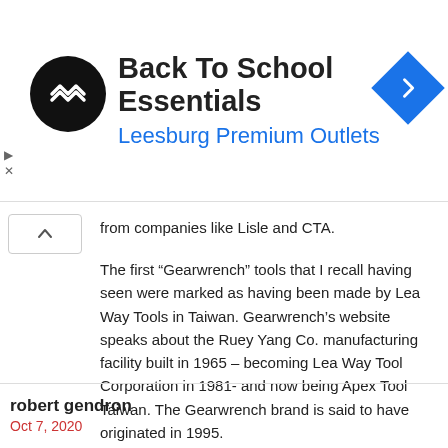[Figure (screenshot): Advertisement banner for 'Back To School Essentials - Leesburg Premium Outlets' with a black circular logo with a double-arrow symbol, and a blue diamond navigation icon on the right. Small play and close controls on the left side.]
from companies like Lisle and CTA.
The first “Gearwrench” tools that I recall having seen were marked as having been made by Lea Way Tools in Taiwan. Gearwrench’s website speaks about the Ruey Yang Co. manufacturing facility built in 1965 – becoming Lea Way Tool Corporation in 1981- and now being Apex Tool Taiwan. The Gearwrench brand is said to have originated in 1995.
REPLY
robert gendron
Oct 7, 2020